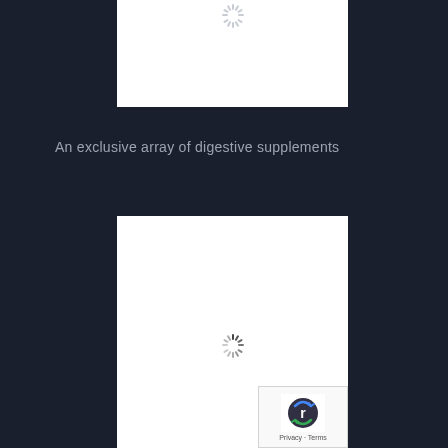[Figure (other): White image placeholder box with loading spinner (light grey) at top center]
An exclusive array of digestive supplements
[Figure (other): White image placeholder box with loading spinner (dark grey) at center, with reCAPTCHA badge in bottom right corner]